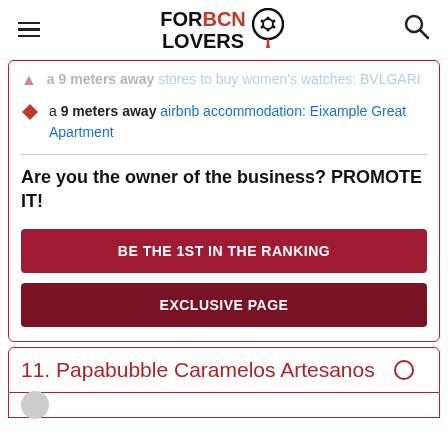FORBCN LOVERS [logo]
a 9 meters away stores to buy women's watches: BVLGARI
a 9 meters away airbnb accommodation: Eixample Great Apartment
Are you the owner of the business? PROMOTE IT!
BE THE 1ST IN THE RANKING
EXCLUSIVE PAGE
11. Papabubble Caramelos Artesanos